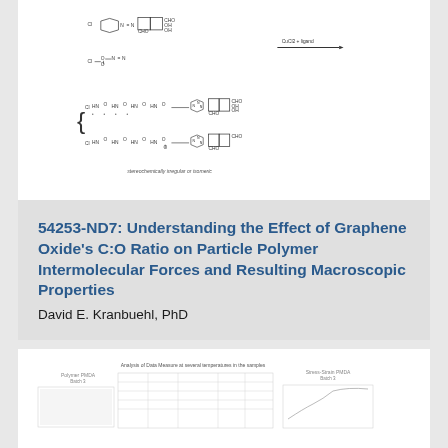[Figure (schematic): Chemical structure diagram showing synthesis of a complex molecule. Top portion shows reactants including chlorinated aromatic compounds and aldehyde-containing naphthalene derivatives reacting with CuCl2 + ligand. Bottom portion shows two stereochemically irregular or isomeric products with chlorinated cyclohexane-based chains connected via triazole linkers to naphthalene dialdehyde units.]
54253-ND7: Understanding the Effect of Graphene Oxide's C:O Ratio on Particle Polymer Intermolecular Forces and Resulting Macroscopic Properties
David E. Kranbuehl, PhD
[Figure (table-as-image): Partially visible table or data figure at the bottom of the page, showing multiple columns with text headers and data entries, cut off at the bottom edge.]